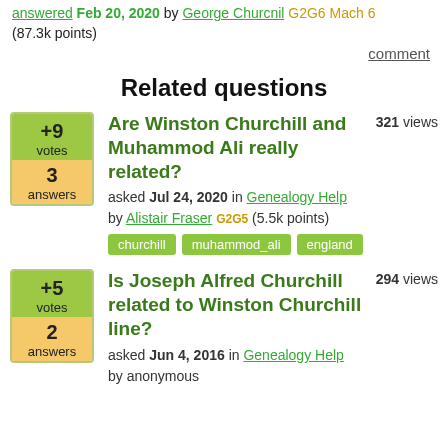answered Feb 20, 2020 by George Odurcih G2G6 Mach 6 (87.3k points)
comment
Related questions
+9 votes, 3 answers — Are Winston Churchill and Muhammod Ali really related? — 321 views — asked Jul 24, 2020 in Genealogy Help by Alistair Fraser G2G5 (5.5k points) — tags: churchill, muhammod_ali, england
+5 votes, 2 answers — Is Joseph Alfred Churchill related to Winston Churchill line? — 294 views — asked Jun 4, 2016 in Genealogy Help by anonymous